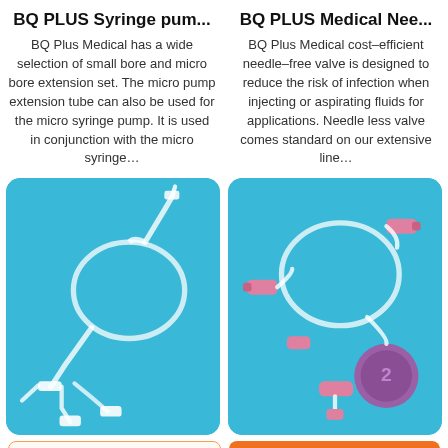BQ PLUS Syringe pum...
BQ Plus Medical has a wide selection of small bore and micro bore extension set. The micro pump extension tube can also be used for the micro syringe pump. It is used in conjunction with the micro syringe...
BQ PLUS Medical Nee...
BQ Plus Medical cost–efficient needle–free valve is designed to reduce the risk of infection when injecting or aspirating fluids for applications. Needle less valve comes standard on our extensive line...
[Figure (photo): Medical syringe pump extension set with tubing on blue background]
[Figure (photo): Medical needle-free valve components with tubing and connectors on blue background]